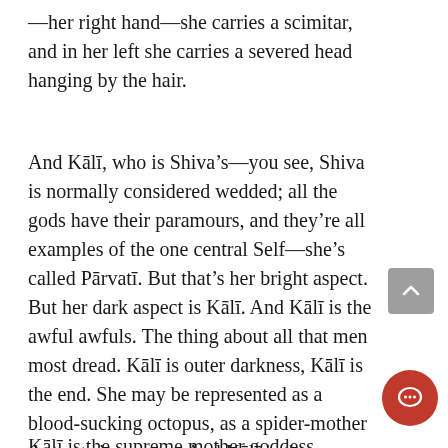—her right hand—she carries a scimitar, and in her left she carries a severed head hanging by the hair.
And Kālī, who is Shiva's—you see, Shiva is normally considered wedded; all the gods have their paramours, and they're all examples of the one central Self—she's called Pārvatī. But that's her bright aspect. But her dark aspect is Kālī. And Kālī is the awful awfuls. The thing about all that men most dread. Kālī is outer darkness, Kālī is the end. She may be represented as a blood-sucking octopus, as a spider-mother that eats its spouse. And Kālī is the principle of total night. And yet, there are those in India like Sri Ramakrishna, for whom Kālī is the supreme mother goddess. Because...